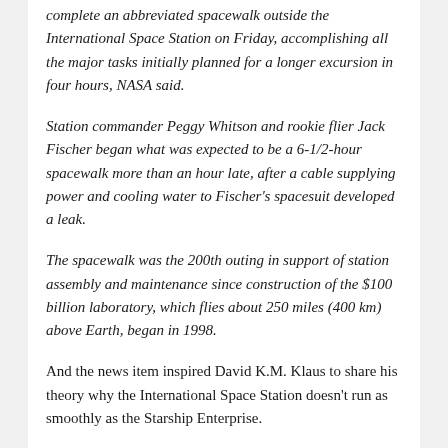complete an abbreviated spacewalk outside the International Space Station on Friday, accomplishing all the major tasks initially planned for a longer excursion in four hours, NASA said.
Station commander Peggy Whitson and rookie flier Jack Fischer began what was expected to be a 6-1/2-hour spacewalk more than an hour late, after a cable supplying power and cooling water to Fischer's spacesuit developed a leak.
The spacewalk was the 200th outing in support of station assembly and maintenance since construction of the $100 billion laboratory, which flies about 250 miles (400 km) above Earth, began in 1998.
And the news item inspired David K.M. Klaus to share his theory why the International Space Station doesn't run as smoothly as the Starship Enterprise.
The largest department on any version of the ENTERPRISE in STAR TREK had to have been Engineering and Ship's Services